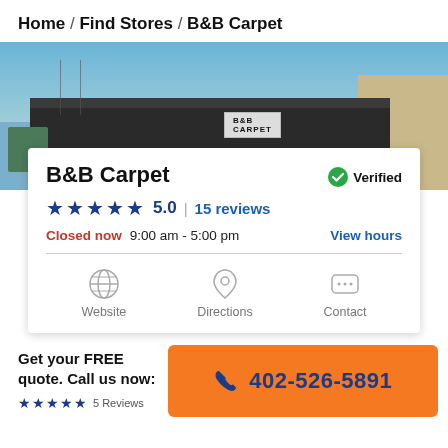Home / Find Stores / B&B Carpet
[Figure (photo): Exterior photo of B&B Carpet store building with signage visible on a dark commercial building under a clear blue sky]
B&B Carpet
Verified
★★★★★ 5.0 | 15 reviews
Closed now  9:00 am - 5:00 pm  View hours
Website   Directions   Contact
Get your FREE quote. Call us now:
★★★★★  5 Reviews
402-526-5891